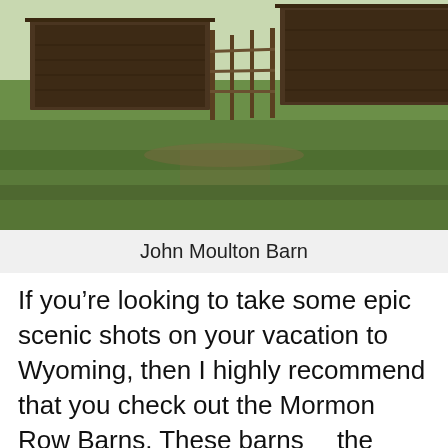[Figure (photo): Photo of John Moulton Barn with wooden barn structures and fencing on a green grassy field]
John Moulton Barn
If you’re looking to take some epic scenic shots on your vacation to Wyoming, then I highly recommend that you check out the Mormon Row Barns. These barns [have] the dramatic background landscape [of the] Grand Teton Mountain Range. So,